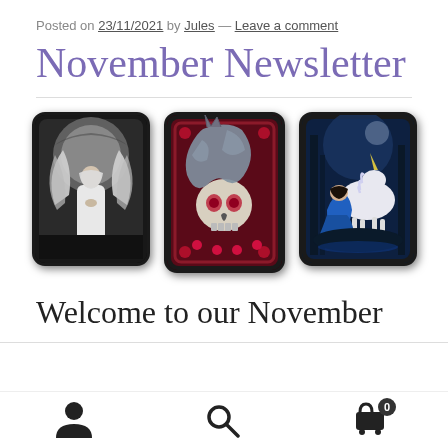Posted on 23/11/2021 by Jules — Leave a comment
November Newsletter
[Figure (photo): Three decorative tin cases with fantasy artwork: an angel in white robes, a skull with a dragon, and a girl with a unicorn]
Welcome to our November
User icon, Search icon, Cart icon with badge 0